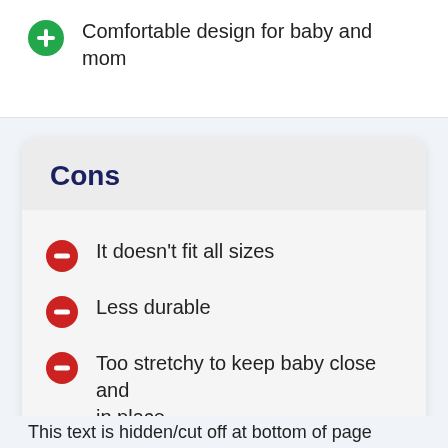Comfortable design for baby and mom
Cons
It doesn't fit all sizes
Less durable
Too stretchy to keep baby close and in place
This text is hidden/cut off at bottom of page